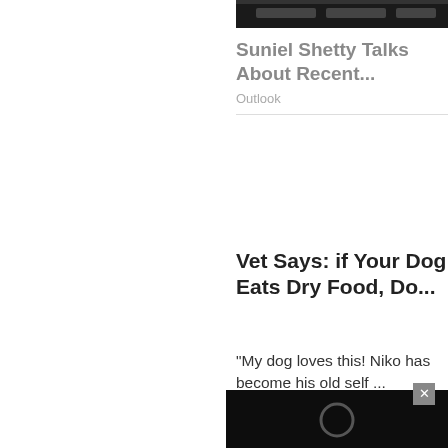[Figure (screenshot): Dark thumbnail image of a video or article about Suniel Shetty]
Suniel Shetty Talks About Recent...
Outlook
Vet Says: if Your Dog Eats Dry Food, Do...
“My dog loves this! Niko has become his old self ...
Dr Marty | Nature’s Blend | Sponsored
[Figure (screenshot): Black video player with circular loading/play indicator and close button]